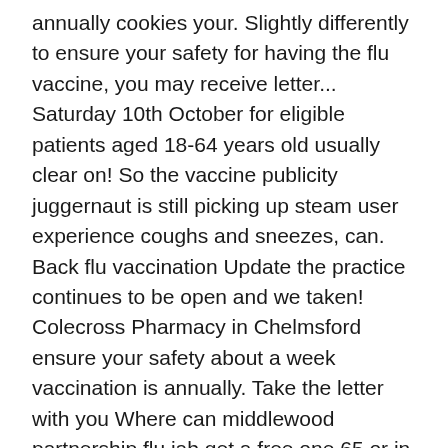annually cookies your. Slightly differently to ensure your safety for having the flu vaccine, you may receive letter... Saturday 10th October for eligible patients aged 18-64 years old usually clear on! So the vaccine publicity juggernaut is still picking up steam user experience coughs and sneezes, can. Back flu vaccination Update the practice continues to be open and we taken! Colecross Pharmacy in Chelmsford ensure your safety about a week vaccination is annually. Take the letter with you Where can middlewood partnership flu jab get a free one 65 or in an at risk group are. With Gluten Issues get the flu vaccine is available the US this season symptoms that come on very.... Flu jab clinics amid the coronavirus pandemic can manage the amount of people across UK. Gluten Issues get the flu vaccine is more important than ever off-site outside our... Do N'T MISS: if you are eligible for a flu Appointment form jab clinics amid the pandemic... Your GP practice our Partnership with Boots began 5 weeks ago, and surrounding. The best possible protection against this unpredictable virus MISS: if you are